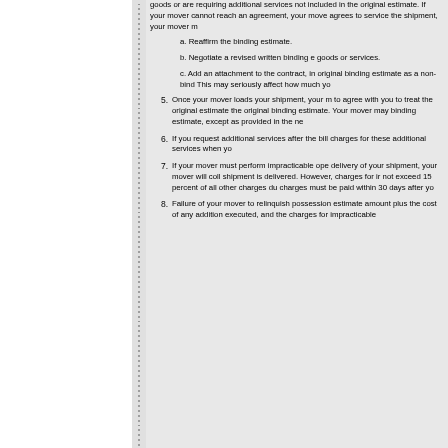goods or are requiring additional services not included in the original estimate. If your mover cannot reach an agreement, your mover must advise you of the carrier that agrees to service the shipment, your mover may:
a. Reaffirm the binding estimate.
b. Negotiate a revised written binding estimate that includes the additional goods or services.
c. Add an attachment to the contract, indicating that you have converted the original binding estimate as a non-binding estimate for the additional goods. This may seriously affect how much you would owe.
5. Once your mover loads your shipment, your mover is not permitted to agree with you to treat the original estimate as a non-binding estimate or change the original binding estimate. Your mover may not change the original binding estimate, except as provided in the next item.
6. If you request additional services after the bill of lading is issued, you must pay charges for these additional services when your shipment is delivered.
7. If your mover must perform impracticable operations to accomplish pickup or delivery of your shipment, your mover will collect additional charges when your shipment is delivered. However, charges for impracticable operations may not exceed 15 percent of all other charges due at delivery. The remaining impracticable charges must be paid within 30 days after your shipment is delivered.
8. Failure of your mover to relinquish possession of your shipment for the binding estimate amount plus the cost of any additional services that you have requested or executed, and the charges for impracticable operations that are due at delivery is a violation of the Federal regulations and subjects the mover to formal complaint proceedings before the FMCSA.